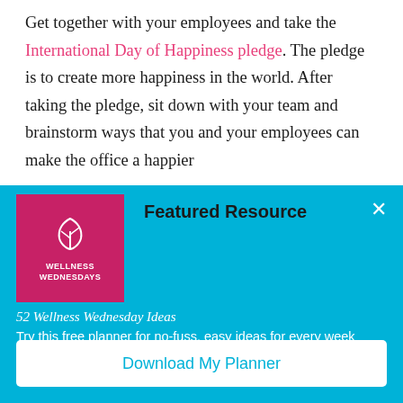Get together with your employees and take the International Day of Happiness pledge. The pledge is to create more happiness in the world. After taking the pledge, sit down with your team and brainstorm ways that you and your employees can make the office a happier
Featured Resource
[Figure (illustration): Pink/magenta square book cover with a leaf/plant icon and the text WELLNESS WEDNESDAYS]
52 Wellness Wednesday Ideas
Try this free planner for no-fuss, easy ideas for every week
Download My Planner